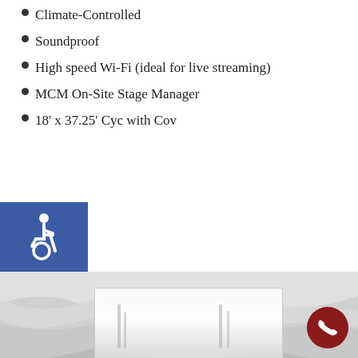Climate-Controlled
Soundproof
High speed Wi-Fi (ideal for live streaming)
MCM On-Site Stage Manager
18' x 37.25' Cyc with Cov
[Figure (infographic): Wheelchair accessibility icon on blue background]
[Figure (illustration): Gray wave/curtain shape decorative element]
[Figure (photo): Interior studio or stage space photo]
[Figure (infographic): Dark red circular phone/call button icon]